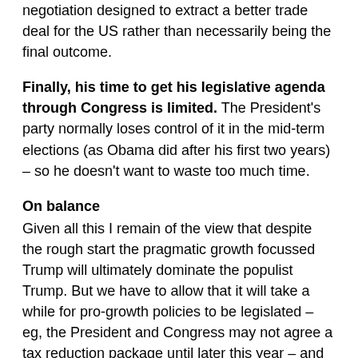negotiation designed to extract a better trade deal for the US rather than necessarily being the final outcome.
Finally, his time to get his legislative agenda through Congress is limited. The President's party normally loses control of it in the mid-term elections (as Obama did after his first two years) – so he doesn't want to waste too much time.
On balance
Given all this I remain of the view that despite the rough start the pragmatic growth focussed Trump will ultimately dominate the populist Trump. But we have to allow that it will take a while for pro-growth policies to be legislated – eg, the President and Congress may not agree a tax reduction package until later this year – and that fears of trade war are likely to get worse before they get better as Trump embarks on a tough negotiating stance. This should ultimately be supportive of US/global growth but there will be volatility (and